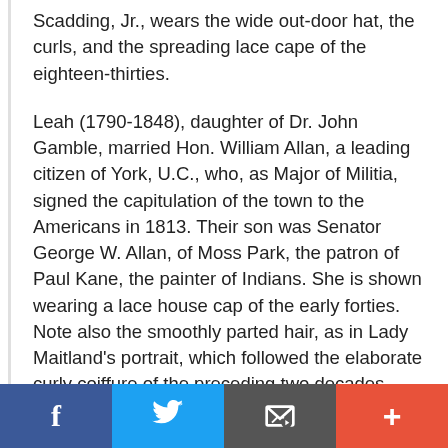Scadding, Jr., wears the wide out-door hat, the curls, and the spreading lace cape of the eighteen-thirties.
Leah (1790-1848), daughter of Dr. John Gamble, married Hon. William Allan, a leading citizen of York, U.C., who, as Major of Militia, signed the capitulation of the town to the Americans in 1813. Their son was Senator George W. Allan, of Moss Park, the patron of Paul Kane, the painter of Indians. She is shown wearing a lace house cap of the early forties. Note also the smoothly parted hair, as in Lady Maitland's portrait, which followed the elaborate curly coiffure of the preceding two decades, such as is seen in the portrait of Madame Joly, Julie de
[Figure (other): Social sharing bar with Facebook, Twitter, email, and more (+) buttons]